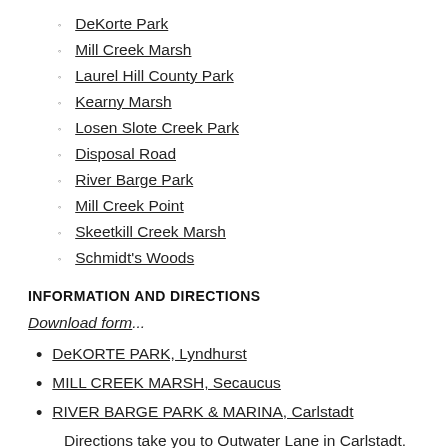DeKorte Park
Mill Creek Marsh
Laurel Hill County Park
Kearny Marsh
Losen Slote Creek Park
Disposal Road
River Barge Park
Mill Creek Point
Skeetkill Creek Marsh
Schmidt's Woods
INFORMATION AND DIRECTIONS
Download form...
DeKORTE PARK, Lyndhurst
MILL CREEK MARSH, Secaucus
RIVER BARGE PARK & MARINA, Carlstadt
Directions take you to Outwater Lane in Carlstadt. Follow